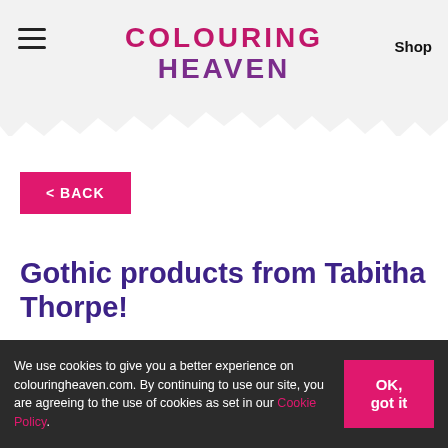COLOURING HEAVEN | Shop
[Figure (other): Torn paper edge decorative divider between header and content]
< BACK
Gothic products from Tabitha Thorpe!
“Till death do us part” has inspired this unique range of gothic fantasy products from featured artist Tabitha Thorpe –
We use cookies to give you a better experience on colouringheaven.com. By continuing to use our site, you are agreeing to the use of cookies as set in our Cookie Policy.